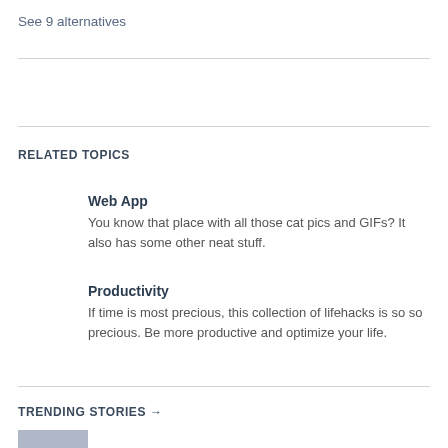See 9 alternatives
RELATED TOPICS
Web App
You know that place with all those cat pics and GIFs? It also has some other neat stuff.
Productivity
If time is most precious, this collection of lifehacks is so so precious. Be more productive and optimize your life.
TRENDING STORIES →